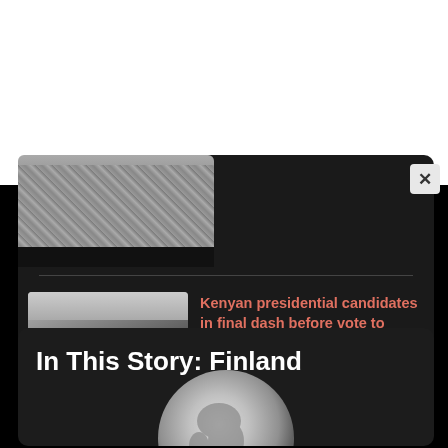[Figure (screenshot): Top portion of a dark news card with a thumbnail image (partially visible at top) showing debris/rubble scene with dark bar at bottom]
[Figure (screenshot): News thumbnail showing a large hall with rows of ballot boxes and figures in blue and red clothing]
Kenyan presidential candidates in final dash before vote to succeed Kenyatta • FRANCE 24 English
[Figure (screenshot): Globe/Earth image showing Europe and Africa, partially visible at bottom of page]
In This Story: Finland